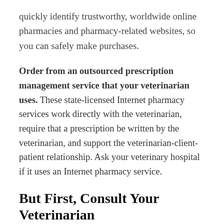quickly identify trustworthy, worldwide online pharmacies and pharmacy-related websites, so you can safely make purchases.
Order from an outsourced prescription management service that your veterinarian uses. These state-licensed Internet pharmacy services work directly with the veterinarian, require that a prescription be written by the veterinarian, and support the veterinarian-client-patient relationship. Ask your veterinary hospital if it uses an Internet pharmacy service.
But First, Consult Your Veterinarian